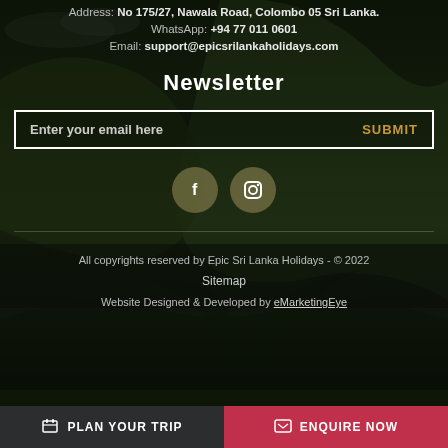Address: No 175/27, Nawala Road, Colombo 05 Sri Lanka.
WhatsApp: +94 77 011 0601
Email: support@epicsrilankaholidays.com
Newsletter
Enter your email here    SUBMIT
[Figure (illustration): Two circular social media icon buttons: Facebook (f) and Instagram camera icon, on olive/dark background circles]
All copyrights reserved by Epic Sri Lanka Holidays - © 2022
Sitemap
Website Designed & Developed by eMarketingEye
PLAN YOUR TRIP    ENQUIRE NOW